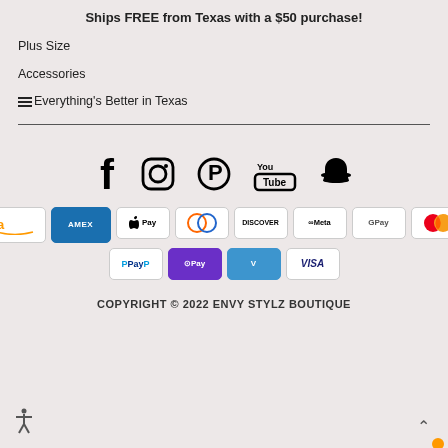Ships FREE from Texas with a $50 purchase!
Plus Size
Accessories
Everything's Better in Texas
[Figure (infographic): Social media icons row: Facebook, Instagram, Pinterest, YouTube, Snapchat]
[Figure (infographic): Payment method badges: Amazon, Amex, Apple Pay, Diners Club, Discover, Meta Pay, Google Pay, Mastercard, PayPal, Shop Pay, Venmo, Visa]
COPYRIGHT © 2022 ENVY STYLZ BOUTIQUE